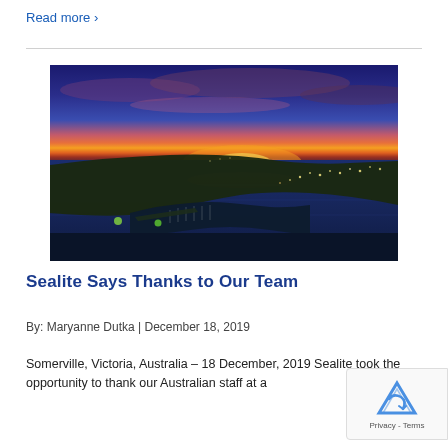Read more ›
[Figure (photo): Aerial twilight/sunset photograph of Somerville, Victoria, Australia showing a bay with marina and city lights in deep blue tones with a pink/red horizon sky.]
Sealite Says Thanks to Our Team
By: Maryanne Dutka | December 18, 2019
Somerville, Victoria, Australia – 18 December, 2019 Sealite took the opportunity to thank our Australian staff at a